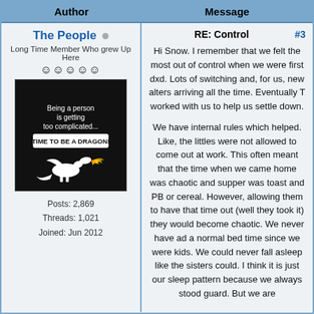Author | Message
The People
Long Time Member Who grew Up Here
[Figure (illustration): Black square avatar image with white text reading 'Being a person is getting too complicated... TIME TO BE A DRAGON!' with a dragon silhouette breathing fire.]
Posts: 2,869
Threads: 1,021
Joined: Jun 2012
RE: Control #3
Hi Snow. I remember that we felt the most out of control when we were first dxd. Lots of switching and, for us, new alters arriving all the time. Eventually T worked with us to help us settle down.

We have internal rules which helped. Like, the littles were not allowed to come out at work. This often meant that the time when we came home was chaotic and supper was toast and PB or cereal. However, allowing them to have that time out (well they took it) they would become chaotic. We never have ad a normal bed time since we were kids. We could never fall asleep like the sisters could. I think it is just our sleep pattern because we always stood guard. But we are